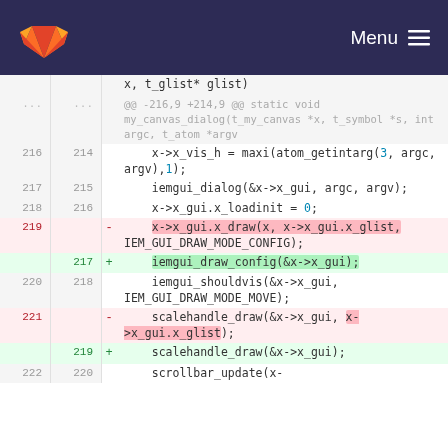Menu
[Figure (screenshot): GitLab navigation bar with logo and Menu button]
Diff view of source code changes in a C file showing modifications to my_canvas_dialog function. Changes replace x->x_gui.x_draw() call with iemgui_draw_config() and scalehandle_draw() with scalehandle_draw(&x->x_gui).
| old ln | new ln | sign | code |
| --- | --- | --- | --- |
|  |  |  | x, t_glist* glist) |
| ... | ... |  | @@ -216,9 +214,9 @@ static void my_canvas_dialog(t_my_canvas *x, t_symbol *s, int argc, t_atom *argv |
| 216 | 214 |  |     x->x_vis_h = maxi(atom_getintarg(3, argc, argv),1); |
| 217 | 215 |  |     iemgui_dialog(&x->x_gui, argc, argv); |
| 218 | 216 |  |     x->x_gui.x_loadinit = 0; |
| 219 |  | - |     x->x_gui.x_draw(x, x->x_gui.x_glist, IEM_GUI_DRAW_MODE_CONFIG); |
|  | 217 | + |     iemgui_draw_config(&x->x_gui); |
| 220 | 218 |  |     iemgui_shouldvis(&x->x_gui, IEM_GUI_DRAW_MODE_MOVE); |
| 221 |  | - |     scalehandle_draw(&x->x_gui, x->x_gui.x_glist); |
|  | 219 | + |     scalehandle_draw(&x->x_gui); |
| 222 | 220 |  |     scrollbar_update(x- |